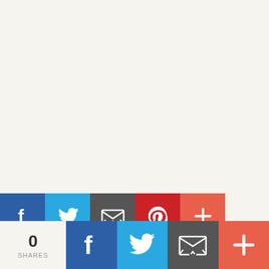[Figure (infographic): Social share buttons bar at top: Facebook (blue), Twitter (light blue), Email (dark gray), Pinterest (red), Plus/More (orange-red)]
[Figure (infographic): Gray separator band below share buttons]
[Figure (infographic): Circular pin/pushpin icon button centered on separator band]
Posted on April 17, 2018
Cat Rescue Fraud – The Clues
[Figure (infographic): Bottom sticky social share bar: 0 SHARES count, Facebook button, Twitter button, Email button, Plus/More button]